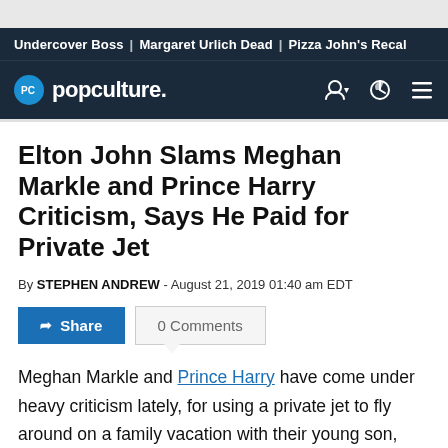Undercover Boss | Margaret Urlich Dead | Pizza John's Recal
popculture.
Elton John Slams Meghan Markle and Prince Harry Criticism, Says He Paid for Private Jet
By STEPHEN ANDREW - August 21, 2019 01:40 am EDT
Share   0 Comments
Meghan Markle and Prince Harry have come under heavy criticism lately, for using a private jet to fly around on a family vacation with their young son, Archie. Now, music icon Elton John is slamming critics of the royal couple,